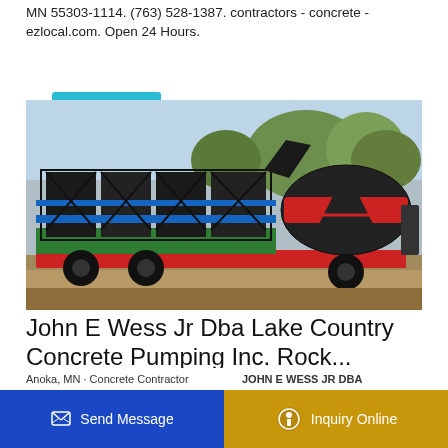MN 55303-1114. (763) 528-1387. contractors - concrete - ezlocal.com. Open 24 Hours.
Learn More
[Figure (photo): A mobile concrete mixing plant/truck on a flatbed trailer with a large cylindrical drum mixer in red and black, blue steel frame structure, green base frame, parked outdoors with trees in background.]
John E Wess Jr Dba Lake Country Concrete Pumping Inc. Rock...
Send Message
Inquiry Online
Anoka, MN · Concrete Contractor    JOHN E WESS JR DBA